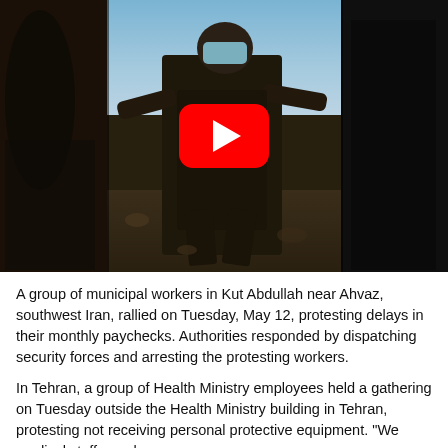[Figure (screenshot): YouTube video thumbnail showing a person wearing a face mask outdoors, with a red YouTube play button overlay. The image is divided into three vertical panels: dark left panel, center panel showing a person in dark clothing with a blue surgical mask against a sky background, and a dark right panel.]
A group of municipal workers in Kut Abdullah near Ahvaz, southwest Iran, rallied on Tuesday, May 12, protesting delays in their monthly paychecks. Authorities responded by dispatching security forces and arresting the protesting workers.
In Tehran, a group of Health Ministry employees held a gathering on Tuesday outside the Health Ministry building in Tehran, protesting not receiving personal protective equipment. "We medical staff members